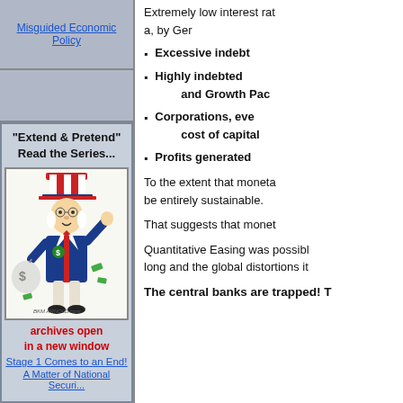Misguided Economic Policy
[Figure (illustration): Uncle Sam cartoon character in red white and blue suit carrying a bag of money]
"Extend & Pretend"
Read the Series...
archives open
in a new window
Stage 1 Comes to an End!
A Matter of National Security
Extremely low interest rates, by Ger
Excessive indebt
Highly indebted and Growth Pac
Corporations, even cost of capital
Profits generated
To the extent that moneta be entirely sustainable.
That suggests that monet
Quantitative Easing was possibl long and the global distortions it
The central banks are trapped! T